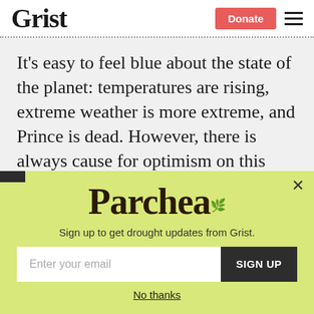Grist | Donate
It's easy to feel blue about the state of the planet: temperatures are rising, extreme weather is more extreme, and Prince is dead. However, there is always cause for optimism on this spinning orb we call home, and so, to mark this Earth Day, we find some milestones to feel good about.
Parchea
Sign up to get drought updates from Grist.
Enter your email | SIGN UP
No thanks